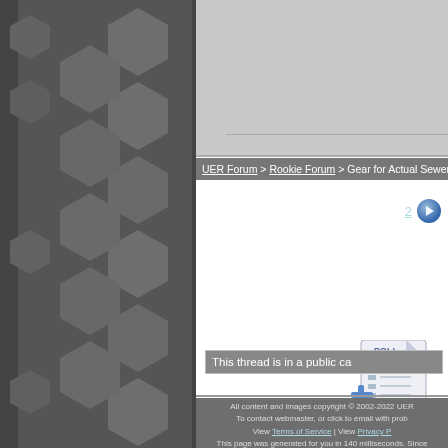[Figure (screenshot): Left sidebar with dark gray background and hexagonal pattern decorations]
[Figure (screenshot): Top light gray bar area, partially visible]
UER Forum > Rookie Forum > Gear for Actual Sewers? (Viewed
1 2 [next page button]
[Figure (illustration): Poll icon - paper document with plus sign, labeled 'Add a poll to this threa']
This thread is in a public ca
All content and images copyright © 2002-2022 UER
To contact webmaster, or click to email with prob
View Terms of Service | View Privacy P
This page was generated for you in 140 milliseconds. Since